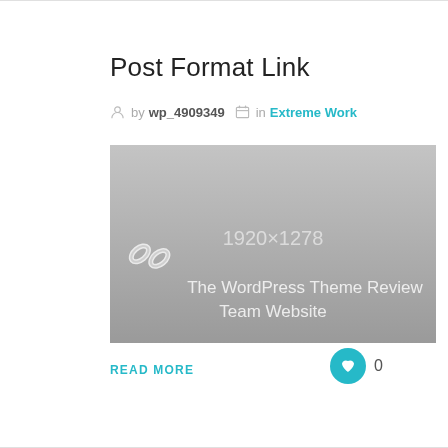Post Format Link
by wp_4909349 in Extreme Work
[Figure (screenshot): Gray placeholder image showing dimensions 1920x1278 with a chain link icon and text 'The WordPress Theme Review Team Website']
READ MORE
0